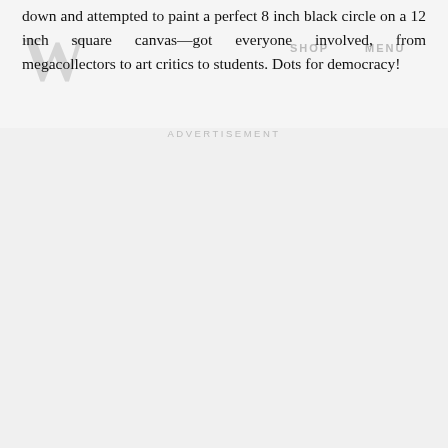down and attempted to paint a perfect 8 inch black circle on a 12 inch square canvas—got everyone involved, from megacollectors to art critics to students. Dots for democracy!
ADVERTISEMENT